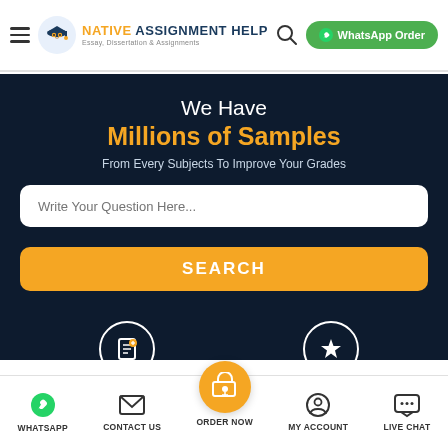NATIVE ASSIGNMENT HELP Essay, Dissertation & Assignments | WhatsApp Order
We Have
Millions of Samples
From Every Subjects To Improve Your Grades
Write Your Question Here... [search input]
SEARCH
16000+ Orders Delivered
4.8/5 5 Star Rating
WHATSAPP | CONTACT US | ORDER NOW | MY ACCOUNT | LIVE CHAT